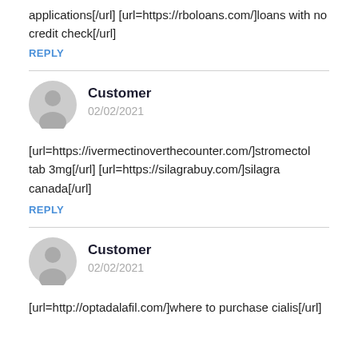applications[/url] [url=https://rboloans.com/]loans with no credit check[/url]
REPLY
Customer
02/02/2021
[url=https://ivermectinoverthecounter.com/]stromectol tab 3mg[/url] [url=https://silagrabuy.com/]silagra canada[/url]
REPLY
Customer
02/02/2021
[url=http://optadalafil.com/]where to purchase cialis[/url]